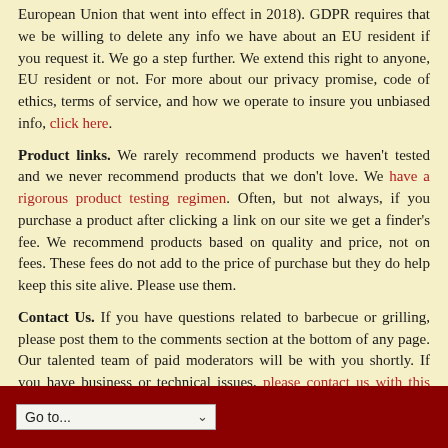European Union that went into effect in 2018). GDPR requires that we be willing to delete any info we have about an EU resident if you request it. We go a step further. We extend this right to anyone, EU resident or not. For more about our privacy promise, code of ethics, terms of service, and how we operate to insure you unbiased info, click here.
Product links. We rarely recommend products we haven't tested and we never recommend products that we don't love. We have a rigorous product testing regimen. Often, but not always, if you purchase a product after clicking a link on our site we get a finder's fee. We recommend products based on quality and price, not on fees. These fees do not add to the price of purchase but they do help keep this site alive. Please use them.
Contact Us. If you have questions related to barbecue or grilling, please post them to the comments section at the bottom of any page. Our talented team of paid moderators will be with you shortly. If you have business or technical issues, please contact us with this email form.
This site is brought to you by readers like you who support us with their membership in our Pitmaster Club. Click here to learn more about benefits to membership.
Go to...